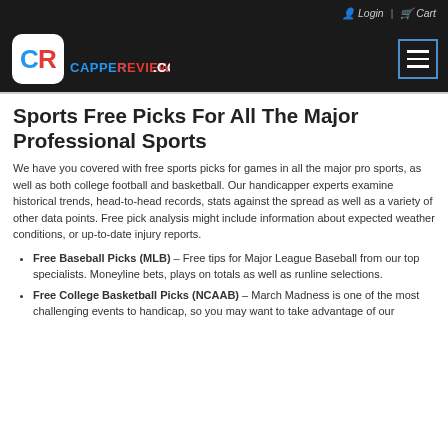Login | Cart
[Figure (logo): CapperReviews.com logo with CR emblem on black background, and hamburger menu button]
Sports Free Picks For All The Major Professional Sports
We have you covered with free sports picks for games in all the major pro sports, as well as both college football and basketball. Our handicapper experts examine historical trends, head-to-head records, stats against the spread as well as a variety of other data points. Free pick analysis might include information about expected weather conditions, or up-to-date injury reports.
Free Baseball Picks (MLB) – Free tips for Major League Baseball from our top specialists. Moneyline bets, plays on totals as well as runline selections.
Free College Basketball Picks (NCAAB) – March Madness is one of the most challenging events to handicap, so you may want to take advantage of our